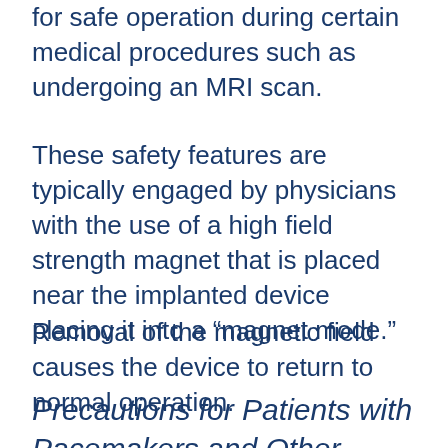for safe operation during certain medical procedures such as undergoing an MRI scan.
These safety features are typically engaged by physicians with the use of a high field strength magnet that is placed near the implanted device placing it into a “magnet mode.”
Removal of the magnetic field causes the device to return to normal operation.
Precautions for Patients with Pacemakers and Other